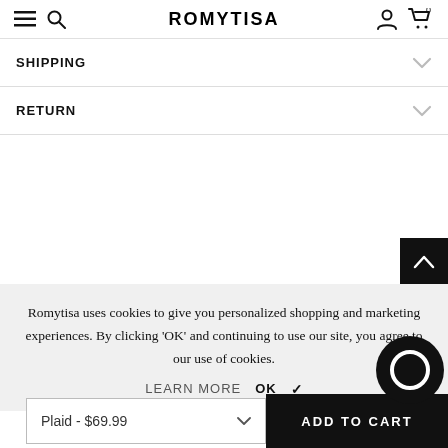ROMYTISA
SHIPPING
RETURN
Romytisa uses cookies to give you personalized shopping and marketing experiences. By clicking 'OK' and continuing to use our site, you agree to our use of cookies.
LEARN MORE   OK  ✓
Plaid - $69.99
ADD TO CART